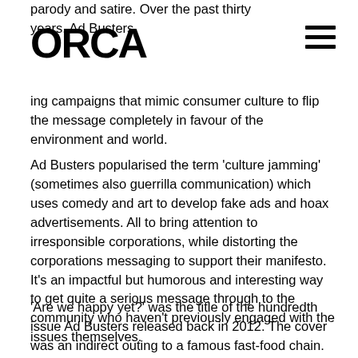parody and satire. Over the past thirty years, Ad Busters making campaigns that mimic consumer culture to flip the message completely in favour of the environment and world.
[Figure (logo): ORCA logo in bold black text]
[Figure (other): Hamburger menu icon with three horizontal lines]
Ad Busters popularised the term 'culture jamming' (sometimes also guerrilla communication) which uses comedy and art to develop fake ads and hoax advertisements. All to bring attention to irresponsible corporations, while distorting the corporations messaging to support their manifesto. It's an impactful but humorous and interesting way to get quite a serious message through to the community who haven't previously engaged with the issues themselves.
'Are we happy yet?' was the title of the hundredth issue Ad Busters released back in 2012. The cover was an indirect outing to a famous fast-food chain. They created an image of